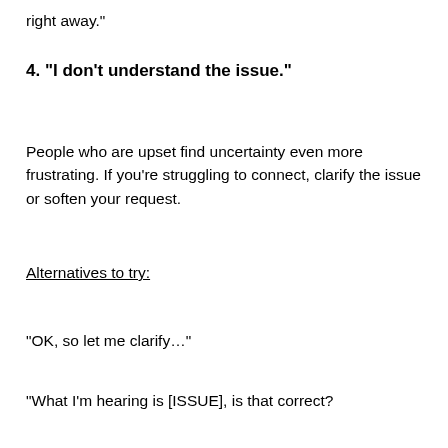right away."
4. "I don't understand the issue."
People who are upset find uncertainty even more frustrating. If you're struggling to connect, clarify the issue or soften your request.
Alternatives to try:
"OK, so let me clarify…"
"What I'm hearing is [ISSUE], is that correct?